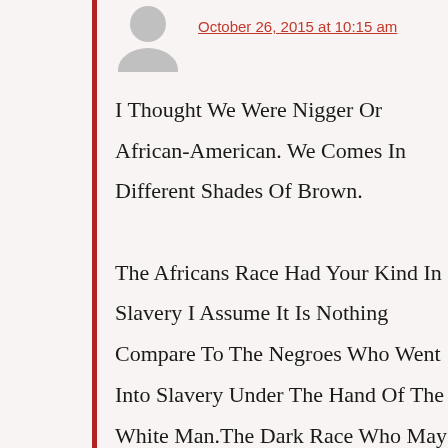[Figure (illustration): Gray avatar/profile silhouette icon for an anonymous user]
October 26, 2015 at 10:15 am
I Thought We Were Nigger Or African-American. We Comes In Different Shades Of Brown.

The Africans Race Had Your Kind In Slavery I Assume It Is Nothing Compare To The Negroes Who Went Into Slavery Under The Hand Of The White Man.The Dark Race Who May Have Enslaves Your So-called White Race In Slavery Were The African Tribes, Or Nation. We Negroes